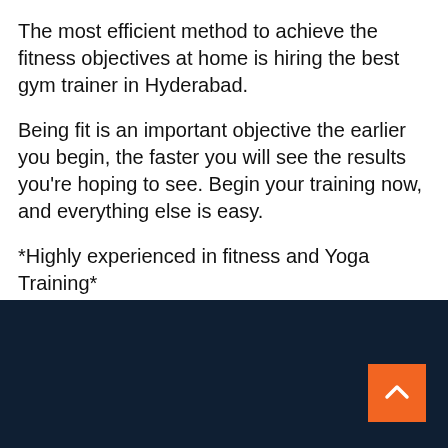The most efficient method to achieve the fitness objectives at home is hiring the best gym trainer in Hyderabad.
Being fit is an important objective the earlier you begin, the faster you will see the results you're hoping to see. Begin your training now, and everything else is easy.
*Highly experienced in fitness and Yoga Training*